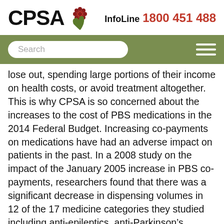[Figure (logo): CPSA logo with flower/hands icon and InfoLine 1800 451 488 contact]
[Figure (screenshot): Navigation bar with search box and hamburger menu on olive green background]
lose out, spending large portions of their income on health costs, or avoid treatment altogether. This is why CPSA is so concerned about the increases to the cost of PBS medications in the 2014 Federal Budget. Increasing co-payments on medications have had an adverse impact on patients in the past. In a 2008 study on the impact of the January 2005 increase in PBS co-payments, researchers found that there was a significant decrease in dispensing volumes in 12 of the 17 medicine categories they studied including anti-epileptics, anti-Parkinson’s treatments, asthma medicines, glaucoma treatments and osteoporosis treatments. The study stated that “the results